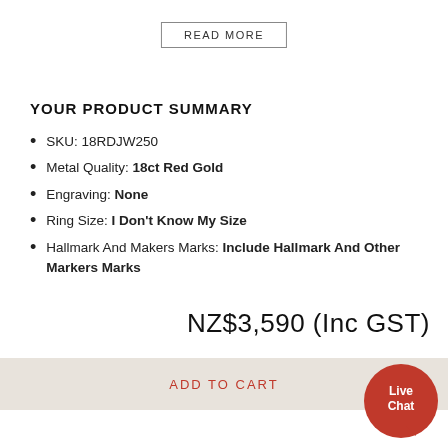READ MORE
YOUR PRODUCT SUMMARY
SKU: 18RDJW250
Metal Quality: 18ct Red Gold
Engraving: None
Ring Size: I Don't Know My Size
Hallmark And Makers Marks: Include Hallmark And Other Markers Marks
NZ$3,590 (Inc GST)
ADD TO CART
[Figure (illustration): Red circular Live Chat button with white text]